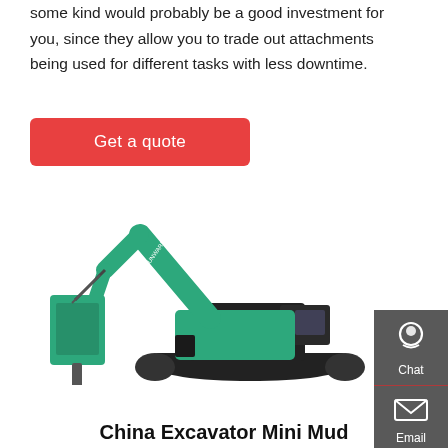some kind would probably be a good investment for you, since they allow you to trade out attachments being used for different tasks with less downtime.
Get a quote
[Figure (photo): A teal/green Sunward excavator with a hydraulic breaker attachment, shown on a white background.]
[Figure (infographic): Sidebar with Chat, Email, and Contact buttons on a dark grey background.]
China Excavator Mini Mud